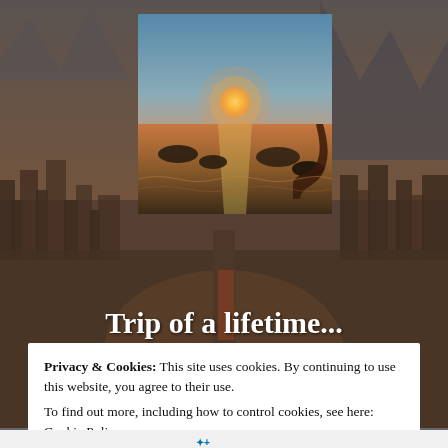[Figure (photo): Background cityscape photo with warm brownish-orange tones showing a densely built city with mountains in the background, overlaid with a warm filter]
[Figure (photo): Center framed sunset photo showing sun setting over the sea/ocean with rocks in the water and a person silhouette in the lower right corner]
Trip of a lifetime...
My Adventure across the World!
Privacy & Cookies:  This site uses cookies. By continuing to use this website, you agree to their use.
To find out more, including how to control cookies, see here: Cookie Policy
Close and accept